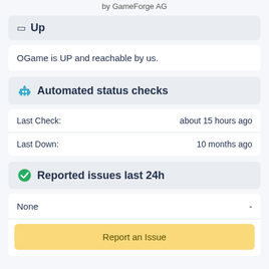by GameForge AG
Up
OGame is UP and reachable by us.
Automated status checks
|  |  |
| --- | --- |
| Last Check: | about 15 hours ago |
| Last Down: | 10 months ago |
Reported issues last 24h
| None | - |
Report an Issue